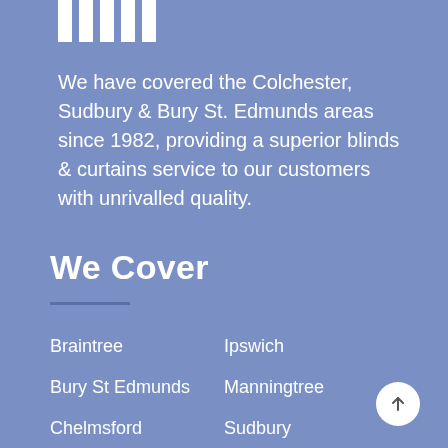[Figure (logo): Logo consisting of vertical white bars of increasing height, resembling a bar chart or venetian blind icon]
We have covered the Colchester, Sudbury & Bury St. Edmunds areas since 1982, providing a superior blinds & curtains service to our customers with unrivalled quality.
We Cover
Braintree
Ipswich
Bury St Edmunds
Manningtree
Chelmsford
Sudbury
Colchester
Stowmarket